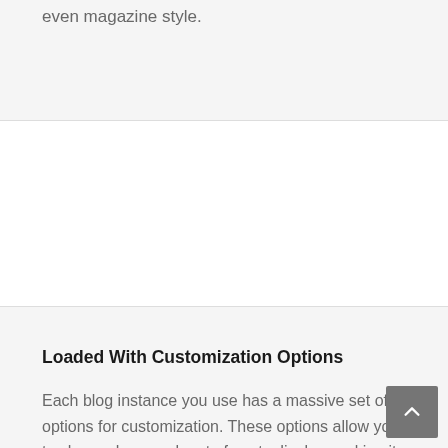even magazine style.
Loaded With Customization Options
Each blog instance you use has a massive set of options for customization. These options allow you to choose how each set of posts display, making it unique to your site.